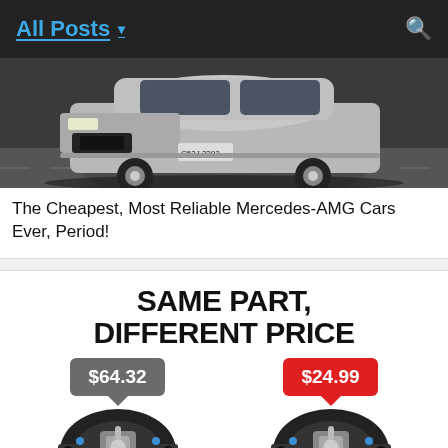All Posts ▾
[Figure (photo): Front view of a silver Mercedes-AMG car on a road]
The Cheapest, Most Reliable Mercedes-AMG Cars Ever, Period!
[Figure (infographic): Same Part, Different Price infographic showing two engine mounts with price tags: $64.32 (gray) and $24.99 (red)]